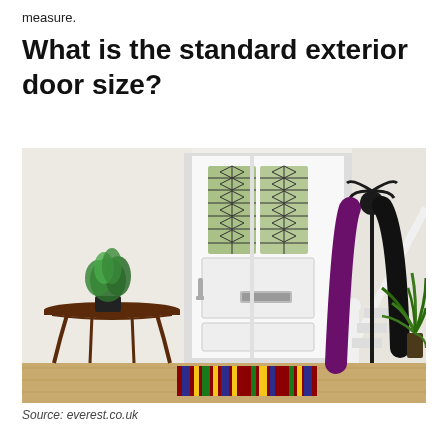measure.
What is the standard exterior door size?
[Figure (photo): Interior hallway photo showing a white composite front door with decorative leaded glass panels, a silver handle and letter box. To the left is a dark wood half-moon console table with a green potted plant on top. To the right is a white staircase banister, a black coat stand with purple and black coats hanging from it, and a tall green leafy plant in the corner. A striped rug lies on the wooden floor near the door.]
Source: everest.co.uk